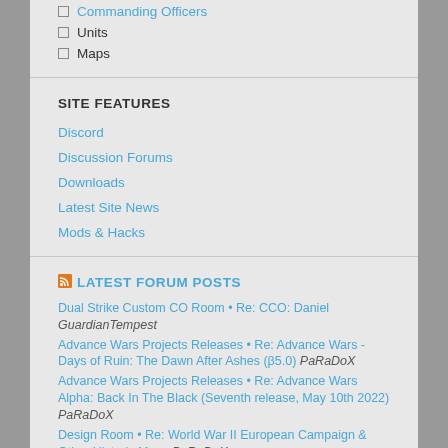Commanding Officers
Units
Maps
SITE FEATURES
Discord
Discussion Forums
Downloads
Latest Site News
Mods & Hacks
LATEST FORUM POSTS
Dual Strike Custom CO Room • Re: CCO: Daniel GuardianTempest
Advance Wars Projects Releases • Re: Advance Wars - Days of Ruin: The Dawn After Ashes (β5.0) PaRaDoX
Advance Wars Projects Releases • Re: Advance Wars Alpha: Back In The Black (Seventh release, May 10th 2022) PaRaDoX
Design Room • Re: World War II European Campaign & Other Historic Maps PaRaDoX
Advance Wars Projects Releases • Re: ADVANCE WARS RETURNS IS COMPLETE PaRaDoX
Design Room • Re: World War II European Campaign & Other Historic Maps Anonymous
LATEST UPDATES